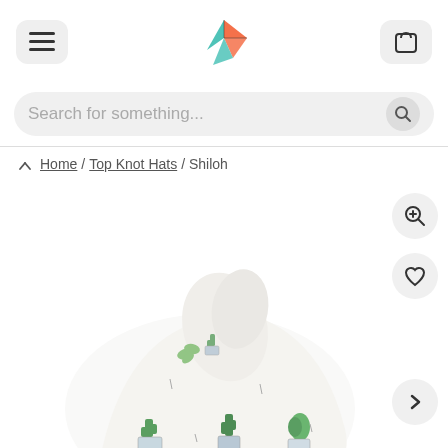[Figure (screenshot): E-commerce website navigation bar with hamburger menu on left, origami bird logo in center, and shopping bag icon on right]
[Figure (screenshot): Search bar with placeholder text 'Search for something...' and a search icon button on the right]
Home / Top Knot Hats / Shiloh
[Figure (photo): Product photo of a white baby top knot hat with green cactus and succulent pattern in geometric planters]